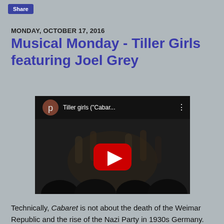Share
MONDAY, OCTOBER 17, 2016
Musical Monday - Tiller Girls featuring Joel Grey
[Figure (screenshot): YouTube video thumbnail showing Tiller girls ("Cabar..." with a play button overlay on a dark performance scene]
Technically, Cabaret is not about the death of the Weimar Republic and the rise of the Nazi Party in 1930s Germany. The musical is about the lives of a handful of quirky